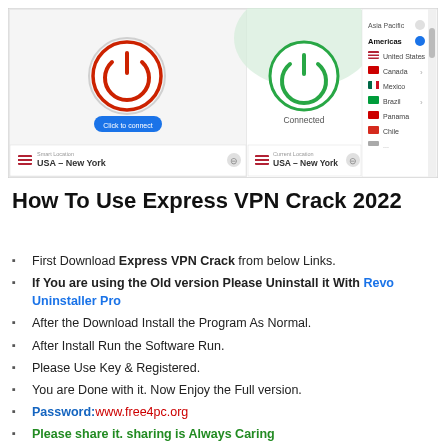[Figure (screenshot): ExpressVPN application screenshot showing three panels: left panel with red power button and 'Click to connect' text with USA-New York location, middle panel with green power button and 'Connected' text with USA-New York location, right panel showing a country list with Asia Pacific, Americas (selected), United States, Canada, Mexico, Brazil, Panama, Chile.]
How To Use Express VPN Crack 2022
First Download Express VPN Crack from below Links.
If You are using the Old version Please Uninstall it With Revo Uninstaller Pro
After the Download Install the Program As Normal.
After Install Run the Software Run.
Please Use Key & Registered.
You are Done with it. Now Enjoy the Full version.
Password:www.free4pc.org
Please share it. sharing is Always Caring